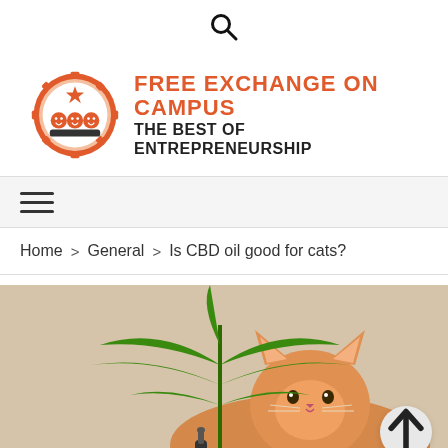[Figure (logo): Search icon (magnifying glass) centered at top of page]
[Figure (logo): Free Exchange on Campus logo with circular icon showing three figures and a star, with text 'FREE EXCHANGE ON CAMPUS - THE BEST OF ENTREPRENEURSHIP']
[Figure (other): Navigation bar with hamburger menu icon (three horizontal lines)]
Home > General > Is CBD oil good for cats?
[Figure (photo): Photo of an orange cat with a cannabis leaf and a dropper bottle, suggesting CBD oil for cats]